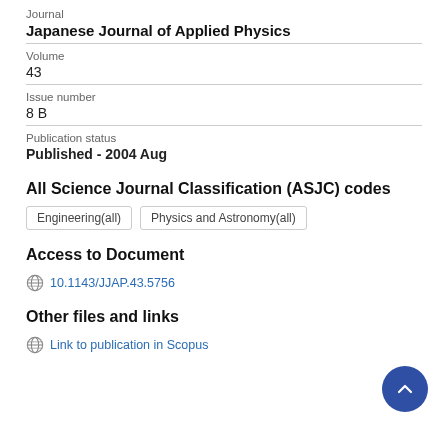Journal
Japanese Journal of Applied Physics
Volume
43
Issue number
8 B
Publication status
Published - 2004 Aug
All Science Journal Classification (ASJC) codes
Engineering(all)
Physics and Astronomy(all)
Access to Document
10.1143/JJAP.43.5756
Other files and links
Link to publication in Scopus